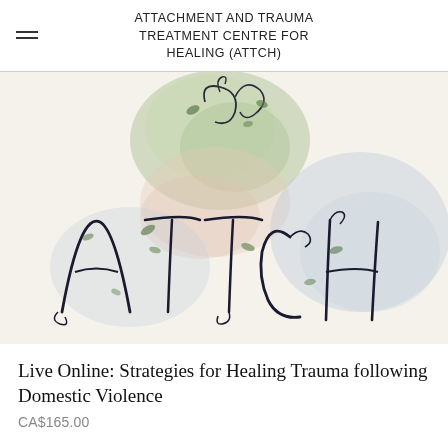ATTACHMENT AND TRAUMA TREATMENT CENTRE FOR HEALING (ATTCH)
[Figure (logo): ATTCH logo illustration with decorative lettering spelling ATTCH in dark cursive script with vine and leaf motifs, green and soft blue watercolor backgrounds, and a small heart or leaf cluster at the top]
Live Online: Strategies for Healing Trauma following Domestic Violence
CA$165.00